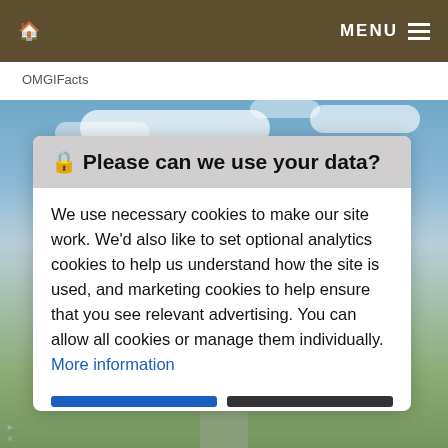🏠  MENU ≡
OMGIFacts
[Figure (screenshot): Outdoor landscape photo with blue sky and clouds, green grassy areas and a path, partially visible behind a cookie consent dialog.]
🔒 Please can we use your data?
We use necessary cookies to make our site work. We'd also like to set optional analytics cookies to help us understand how the site is used, and marketing cookies to help ensure that you see relevant advertising. You can allow all cookies or manage them individually. More information
[Figure (screenshot): Advertisement banner showing a black circular logo with a chain-link/infinity icon, a checkmark, the text 'In-store shopping', and a blue diamond-shaped navigation arrow icon.]